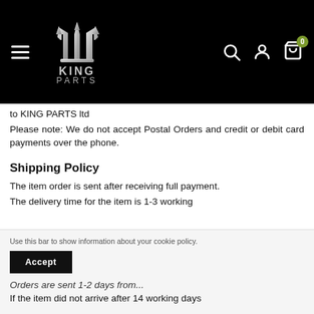[Figure (logo): King Parts Ltd logo - trident symbol in silver/chrome above text KING PARTS on black background]
to KING PARTS ltd
Please note: We do not accept Postal Orders and credit or debit card payments over the phone.
Shipping Policy
The item order is sent after receiving full payment.
The delivery time for the item is 1-3 working days...
Use this bar to show information about your cookie policy.
Orders are sent 1-2 days from...
If the item did not arrive after 14 working days